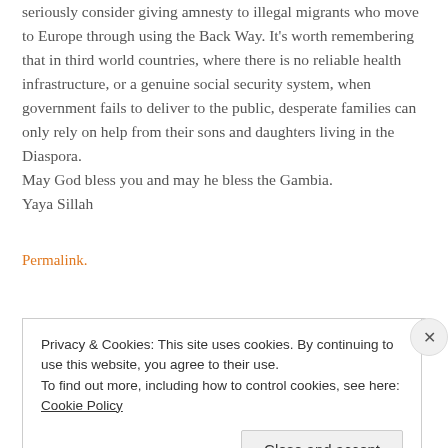seriously consider giving amnesty to illegal migrants who move to Europe through using the Back Way. It's worth remembering that in third world countries, where there is no reliable health infrastructure, or a genuine social security system, when government fails to deliver to the public, desperate families can only rely on help from their sons and daughters living in the Diaspora.
May God bless you and may he bless the Gambia.
Yaya Sillah
Permalink.
Privacy & Cookies: This site uses cookies. By continuing to use this website, you agree to their use.
To find out more, including how to control cookies, see here: Cookie Policy
Close and accept